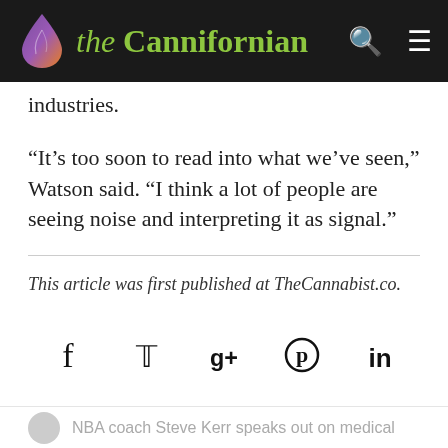the Cannifornian
industries.
“It’s too soon to read into what we’ve seen,” Watson said. “I think a lot of people are seeing noise and interpreting it as signal.”
This article was first published at TheCannabist.co.
[Figure (other): Social media share icons: Facebook, Twitter, Google+, Pinterest, LinkedIn]
NBA coach Steve Kerr speaks out on medical